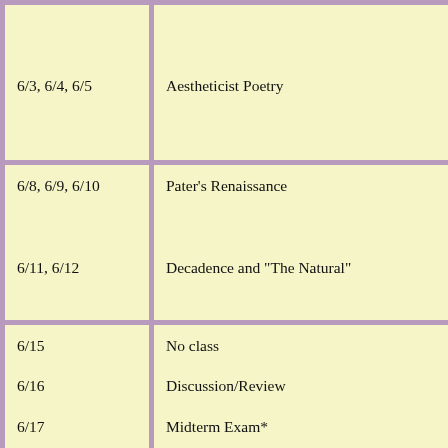| Date | Topic | Readings |
| --- | --- | --- |
| 6/3, 6/4, 6/5 | Aestheticist Poetry | Sy...
Pr...
Re
Re
M
So... |
| 6/8, 6/9, 6/10
6/11, 6/12 | Pater's Renaissance
Decadence and "The Natural" | Pa
"L...
Po...
L'...
H... |
| 6/15
6/16
6/17
6/18-19 | No class
Discussion/Review
Midterm Exam*
Decadence and "The Natural" | Sy...
So...
Li... |
| 6/22, 6/23 | Decadence and Nature | D...
"M... |